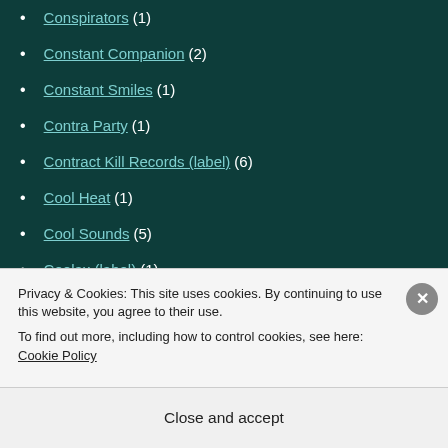Conspirators (1)
Constant Companion (2)
Constant Smiles (1)
Contra Party (1)
Contract Kill Records (label) (6)
Cool Heat (1)
Cool Sounds (5)
Coolax (label) (1)
Coolin By Sound (label) (5)
Coolzey (2)
Copeto (1)
Coral (The) (1)
Privacy & Cookies: This site uses cookies. By continuing to use this website, you agree to their use. To find out more, including how to control cookies, see here: Cookie Policy
Close and accept